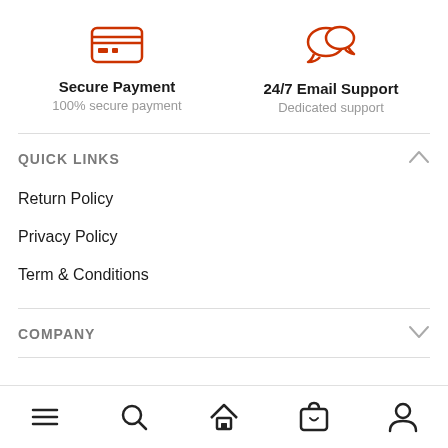[Figure (illustration): Red credit card icon for Secure Payment]
Secure Payment
100% secure payment
[Figure (illustration): Red speech bubble / chat icon for 24/7 Email Support]
24/7 Email Support
Dedicated support
QUICK LINKS
Return Policy
Privacy Policy
Term & Conditions
COMPANY
[Figure (illustration): Mobile bottom navigation bar with menu, search, home, cart, and account icons]